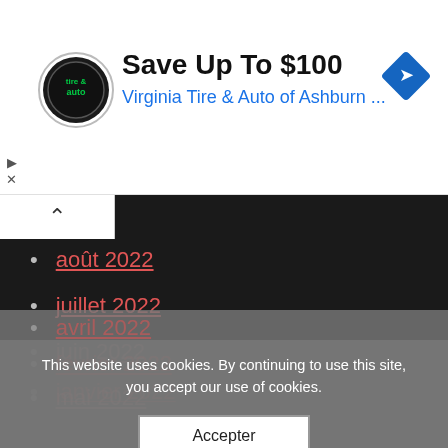[Figure (advertisement): Virginia Tire & Auto ad banner with logo, headline 'Save Up To $100', subheadline 'Virginia Tire & Auto of Ashburn ...', and a blue diamond navigation icon.]
août 2022
juillet 2022
juin 2022
mai 2022
avril 2022
février 2022
This website uses cookies. By continuing to use this site, you accept our use of cookies.
Accepter